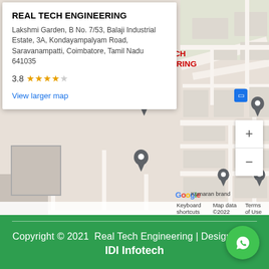[Figure (map): Google Maps screenshot showing REAL TECH ENGINEERING location in Saravanampatti, Coimbatore, Tamil Nadu with info card showing address and 3.8 star rating]
Copyright © 2021  Real Tech Engineering | Designed By IDI Infotech
[Figure (other): WhatsApp contact button (green circle with phone handset icon)]